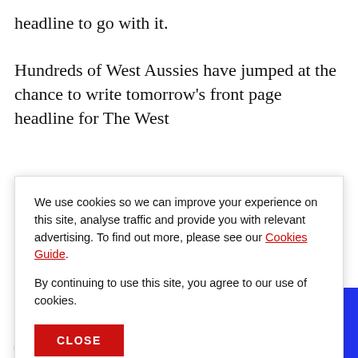headline to go with it.
Hundreds of West Aussies have jumped at the chance to write tomorrow's front page headline for The West
We use cookies so we can improve your experience on this site, analyse traffic and provide you with relevant advertising. To find out more, please see our Cookies Guide.

By continuing to use this site, you agree to our use of cookies.
in training for the cameras.
[Figure (other): Audio player bar for The West Live with Ben O'Shea, featuring a play button and waveform icon on a blue background, with a person wearing headphones on the left.]